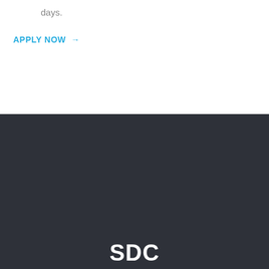days.
APPLY NOW →
SDC
HOME
ABOUT US
SOLUTIONS
SERVICES
NEWSROOM
CONTACT US